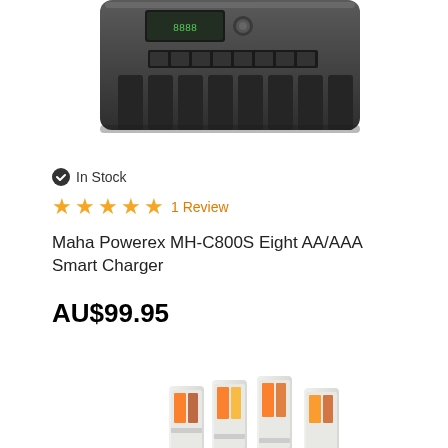[Figure (photo): Top portion of a Maha Powerex MH-C800S Eight AA/AAA Smart Charger device, dark grey/black color, showing the top panel with display and slots]
In Stock
★★★★★ 1 Review
Maha Powerex MH-C800S Eight AA/AAA Smart Charger
AU$99.95
[Figure (photo): A battery charger unit (Powerex MH-C1090F or similar) in beige/white color with multiple battery slots, shown with several AA batteries inserted in white battery holders/adapters]